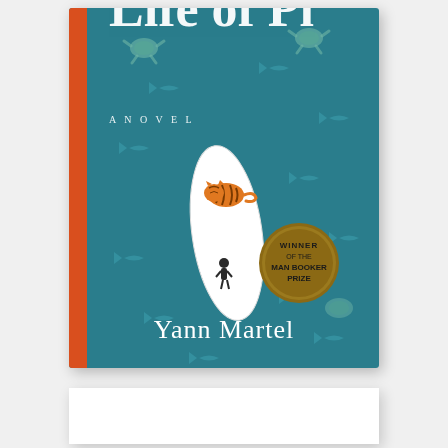[Figure (illustration): Book cover of 'Life of Pi' by Yann Martel. Teal/blue ocean background with fish and sea turtles visible underwater. A white lifeboat at center with an orange tiger lying on top and a dark figure at the bow. An orange vertical stripe on the left spine edge. A gold/bronze circular medallion reads 'WINNER OF THE MAN BOOKER PRIZE'. Title 'Life of Pi' in white letters at top, 'A NOVEL' in small white text, and 'Yann Martel' in large white serif text at bottom.]
[Figure (other): A second white/blank box below the book cover, partially visible, appearing to be a second item or card.]